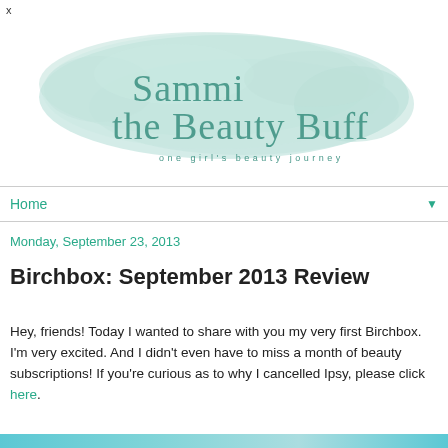x
[Figure (logo): Sammi the Beauty Buff blog logo — cursive script text on a mint/teal watercolor splash background, with tagline 'one girl's beauty journey']
Home ▼
Monday, September 23, 2013
Birchbox: September 2013 Review
Hey, friends! Today I wanted to share with you my very first Birchbox. I'm very excited. And I didn't even have to miss a month of beauty subscriptions! If you're curious as to why I cancelled Ipsy, please click here.